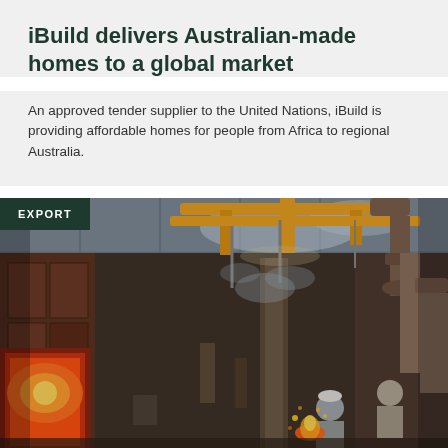iBuild delivers Australian-made homes to a global market
An approved tender supplier to the United Nations, iBuild is providing affordable homes for people from Africa to regional Australia.
[Figure (photo): Industrial factory/foundry interior showing workers operating heavy machinery with bright flames/heat, yellow crane equipment overhead, metal structures, and industrial pipes in a large warehouse-like space. An 'EXPORT' badge overlays the top-left corner on a dark green background.]